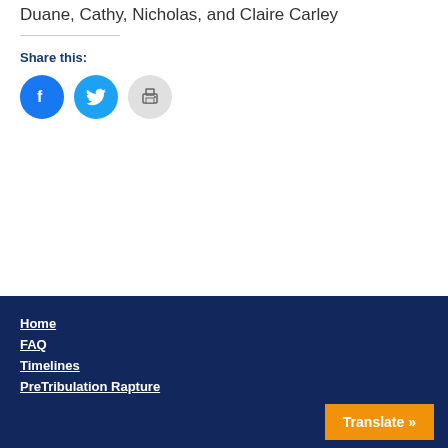Duane, Cathy, Nicholas, and Claire Carley
Share this:
[Figure (other): Three social sharing buttons: Facebook (blue circle with f icon), Twitter (blue circle with bird icon), Print (gray circle with printer icon)]
Home
FAQ
Timelines
PreTribulation Rapture
Translate »